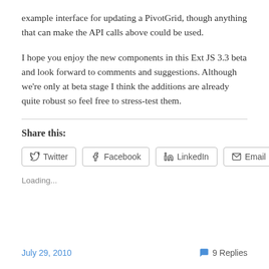example interface for updating a PivotGrid, though anything that can make the API calls above could be used.
I hope you enjoy the new components in this Ext JS 3.3 beta and look forward to comments and suggestions. Although we're only at beta stage I think the additions are already quite robust so feel free to stress-test them.
Share this:
Loading...
July 29, 2010   9 Replies